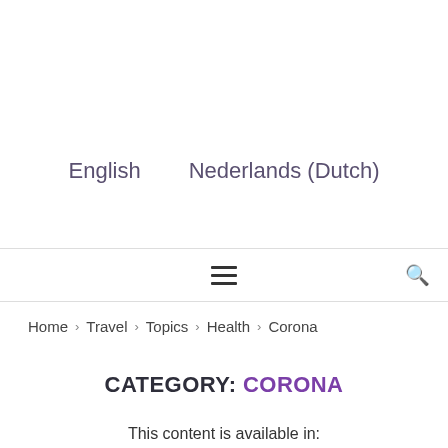English    Nederlands (Dutch)
≡  🔍
Home > Travel > Topics > Health > Corona
CATEGORY: CORONA
This content is available in: